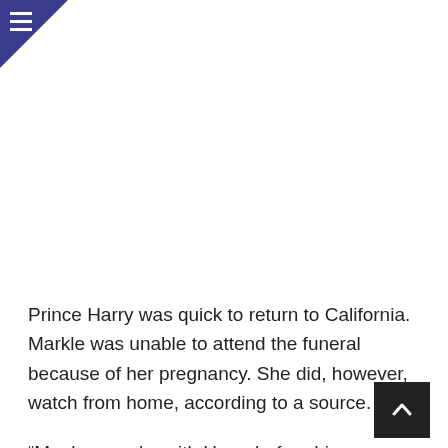[Figure (other): Navigation hamburger menu icon in top-left corner on dark blue triangular background]
[Figure (other): Advertisement or image placeholder area (white/blank)]
Prince Harry was quick to return to California. Markle was unable to attend the funeral because of her pregnancy. She did, however, watch from home, according to a source.
“Meghan spoke with Harry before his grandfather’s